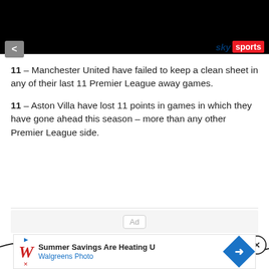[Figure (screenshot): Black video/media banner at top of screen]
[Figure (logo): Sky Sports logo — 'sky' in dark blue italic and 'sports' in white on red badge]
11 – Manchester United have failed to keep a clean sheet in any of their last 11 Premier League away games.
11 – Aston Villa have lost 11 points in games in which they have gone ahead this season – more than any other Premier League side.
[Figure (screenshot): Ad placeholder area with 'Ad' label and close (X) button, with wave decoration]
[Figure (screenshot): Walgreens Photo advertisement banner: 'Summer Savings Are Heating U' / 'Walgreens Photo']